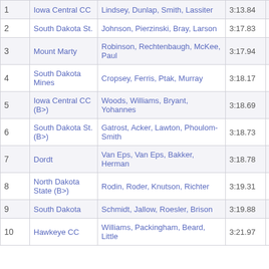|  | Team | Athletes | Time | Pts |
| --- | --- | --- | --- | --- |
| 1 | Iowa Central CC | Lindsey, Dunlap, Smith, Lassiter | 3:13.84 | 10 |
| 2 | South Dakota St. | Johnson, Pierzinski, Bray, Larson | 3:17.83 | 8 |
| 3 | Mount Marty | Robinson, Rechtenbaugh, McKee, Paul | 3:17.94 | 6 |
| 4 | South Dakota Mines | Cropsey, Ferris, Ptak, Murray | 3:18.17 | 5 |
| 5 | Iowa Central CC (B>) | Woods, Williams, Bryant, Yohannes | 3:18.69 | 4 |
| 6 | South Dakota St. (B>) | Gatrost, Acker, Lawton, Phoulom-Smith | 3:18.73 | 3 |
| 7 | Dordt | Van Eps, Van Eps, Bakker, Herman | 3:18.78 | 2 |
| 8 | North Dakota State (B>) | Rodin, Roder, Knutson, Richter | 3:19.31 | 1 |
| 9 | South Dakota | Schmidt, Jallow, Roesler, Brison | 3:19.88 | - |
| 10 | Hawkeye CC | Williams, Packingham, Beard, Little | 3:21.97 |  |